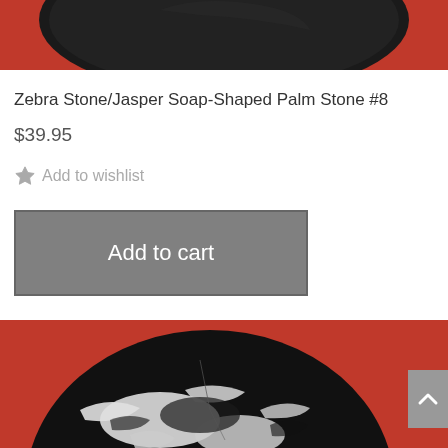[Figure (photo): Top portion of a dark palm stone (Zebra Stone/Jasper) on a red background, showing the bottom of another stone above it.]
Zebra Stone/Jasper Soap-Shaped Palm Stone #8
$39.95
Add to wishlist
Add to cart
[Figure (photo): Close-up photo of a zebra stone/jasper palm stone showing black and white mottled pattern on a red background.]